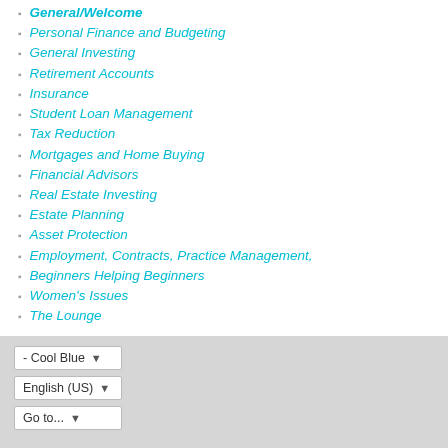General/Welcome
Personal Finance and Budgeting
General Investing
Retirement Accounts
Insurance
Student Loan Management
Tax Reduction
Mortgages and Home Buying
Financial Advisors
Real Estate Investing
Estate Planning
Asset Protection
Employment, Contracts, Practice Management,
Beginners Helping Beginners
Women's Issues
The Lounge
- Cool Blue ▾  English (US) ▾  Go to... ▾
Copyright 2020 - The White Coat Investor, LLC
Powered by vBulletin® Version 5.6.9
Copyright © 2022 MH Sub I, LLC dba vBulletin. All rights reserved.
All times are GMT-7. This page was generated at 07:51 PM.